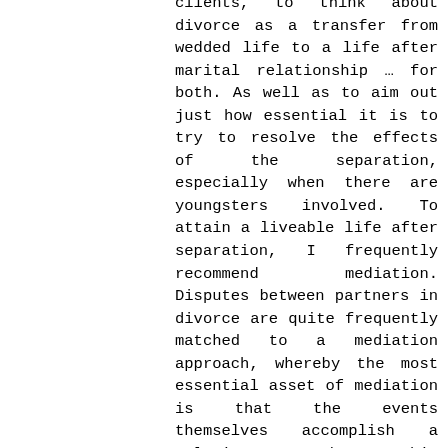clients, to think about divorce as a transfer from wedded life to a life after marital relationship … for both. As well as to aim out just how essential it is to try to resolve the effects of the separation, especially when there are youngsters involved. To attain a liveable life after separation, I frequently recommend mediation. Disputes between partners in divorce are quite frequently matched to a mediation approach, whereby the most essential asset of mediation is that the events themselves accomplish a solution together. This enhances the commitment to and approval of the solution as well as the sustainability of